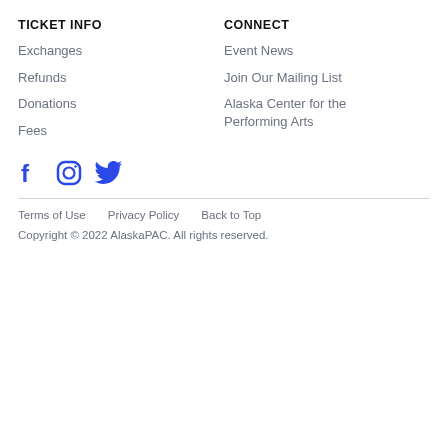TICKET INFO
CONNECT
Exchanges
Event News
Refunds
Join Our Mailing List
Donations
Alaska Center for the Performing Arts
Fees
[Figure (illustration): Social media icons: Facebook, Instagram, Twitter in blue]
Terms of Use    Privacy Policy    Back to Top
Copyright © 2022 AlaskaPAC. All rights reserved.